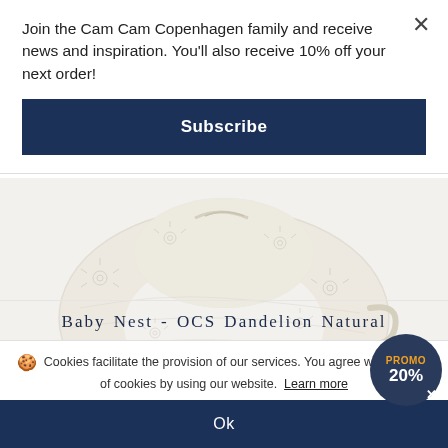Join the Cam Cam Copenhagen family and receive news and inspiration. You'll also receive 10% off your next order!
Subscribe
[Figure (photo): Photo of a white/cream baby nest with dandelion floral pattern, shown from above on a light background]
Baby Nest - OCS Dandelion Natural
€133.00
🍪 Cookies facilitate the provision of our services. You agree with the use of cookies by using our website. Learn more
Ok